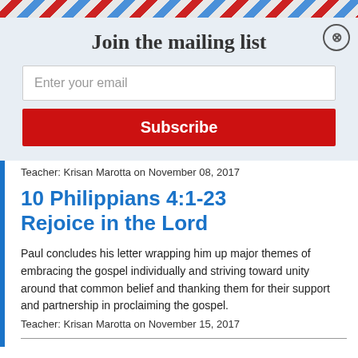Join the mailing list
Enter your email
Subscribe
Teacher: Krisan Marotta on November 08, 2017
10 Philippians 4:1-23 Rejoice in the Lord
Paul concludes his letter wrapping him up major themes of embracing the gospel individually and striving toward unity around that common belief and thanking them for their support and partnership in proclaiming the gospel. Teacher: Krisan Marotta on November 15, 2017